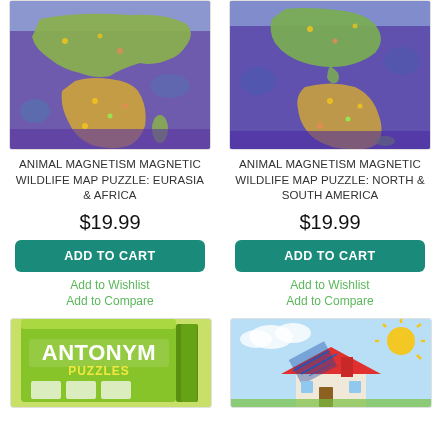[Figure (photo): Animal Magnetism Magnetic Wildlife Map Puzzle: Eurasia & Africa product image showing a colorful illustrated map of Eurasia and Africa with animals on a purple background]
ANIMAL MAGNETISM MAGNETIC WILDLIFE MAP PUZZLE: EURASIA & AFRICA
$19.99
ADD TO CART
Add to Wishlist
Add to Compare
[Figure (photo): Animal Magnetism Magnetic Wildlife Map Puzzle: North & South America product image showing a colorful illustrated map of the Americas with animals on a purple background]
ANIMAL MAGNETISM MAGNETIC WILDLIFE MAP PUZZLE: NORTH & SOUTH AMERICA
$19.99
ADD TO CART
Add to Wishlist
Add to Compare
[Figure (photo): Antonym Puzzles product box with green packaging]
[Figure (photo): Educational puzzle product showing a house/building with solar panels against a blue sky background]